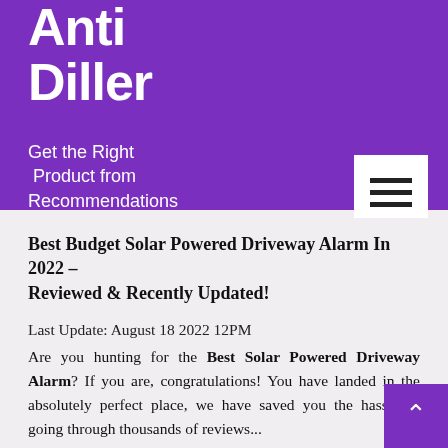Anti Diller
Get the Right Product from Recommendations
Best Budget Solar Powered Driveway Alarm In 2022 – Reviewed & Recently Updated!
Last Update: August 18 2022 12PM
Are you hunting for the Best Solar Powered Driveway Alarm? If you are, congratulations! You have landed in the absolutely perfect place, we have saved you the hassle of going through thousands of reviews...